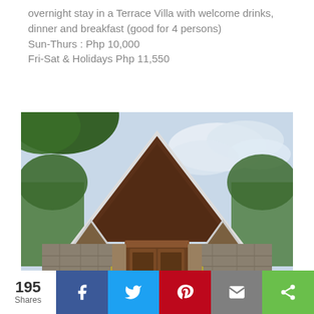overnight stay in a Terrace Villa with welcome drinks, dinner and breakfast (good for 4 persons)
Sun-Thurs : Php 10,000
Fri-Sat & Holidays Php 11,550
[Figure (photo): Exterior photo of a Terrace Villa with a prominent triangular wooden roof/gable entrance, stone walls, wooden double doors, lush greenery and trees surrounding the structure, and a partly cloudy sky in the background.]
195 Shares | Facebook | Twitter | Pinterest | Email | Share